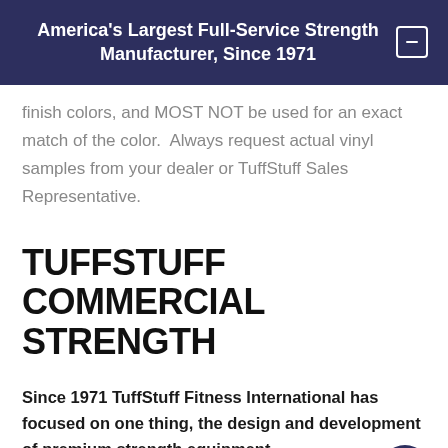America's Largest Full-Service Strength Manufacturer, Since 1971
finish colors, and MOST NOT be used for an exact match of the color.  Always request actual vinyl samples from your dealer or TuffStuff Sales Representative.
TUFFSTUFF COMMERCIAL STRENGTH
Since 1971 TuffStuff Fitness International has focused on one thing, the design and development of premium strength equipment.
Over the last five decades, TuffStuff has